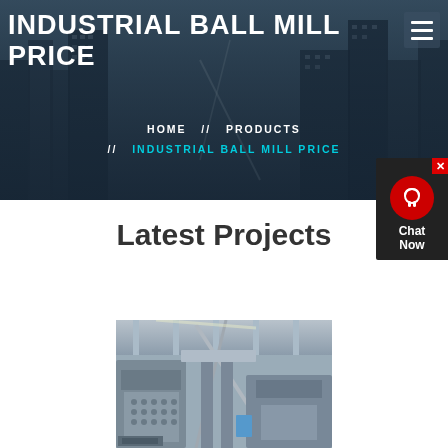INDUSTRIAL BALL MILL PRICE
HOME  //  PRODUCTS  //  INDUSTRIAL BALL MILL PRICE
Latest Projects
[Figure (photo): Industrial machinery/crushing equipment inside a large factory or processing facility, showing metal frames, conveyor structures and heavy industrial equipment.]